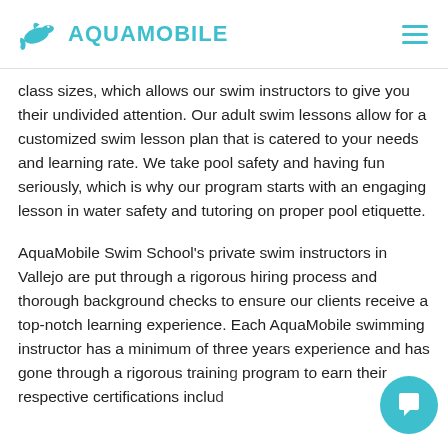AQUAMOBILE
class sizes, which allows our swim instructors to give you their undivided attention. Our adult swim lessons allow for a customized swim lesson plan that is catered to your needs and learning rate. We take pool safety and having fun seriously, which is why our program starts with an engaging lesson in water safety and tutoring on proper pool etiquette.
AquaMobile Swim School's private swim instructors in Vallejo are put through a rigorous hiring process and thorough background checks to ensure our clients receive a top-notch learning experience. Each AquaMobile swimming instructor has a minimum of three years experience and has gone through a rigorous training program to earn their respective certifications includ... swim instructor, lifeguard, and CPR/First Aid...